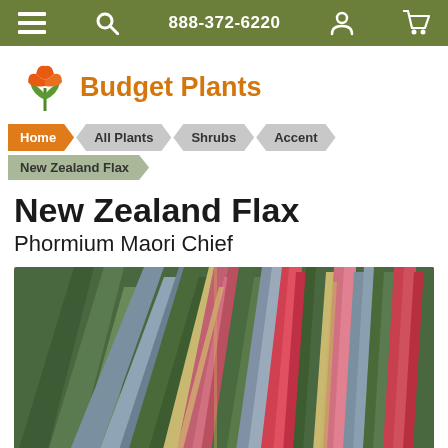888-372-6220
[Figure (logo): Budget Plants logo with tulip icon]
Home > All Plants > Shrubs > Accent
New Zealand Flax
New Zealand Flax
Phormium Maori Chief
[Figure (photo): Close-up photo of New Zealand Flax (Phormium Maori Chief) showing colorful striped leaves in green, pink, red, blue-grey, and cream colors fanning outward]